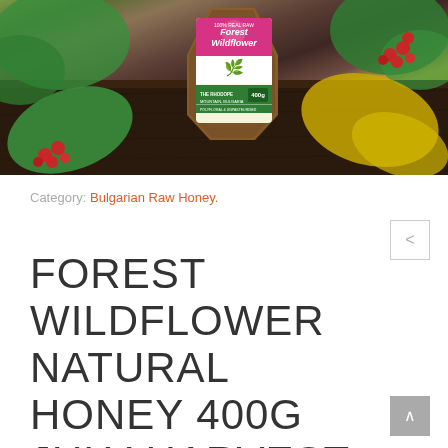[Figure (photo): A hexagonal jar of Forest Wildflower honey (400g) with a pink and green label, surrounded by green leaves, yellow autumn leaves, and red berries on a dark wooden surface. The label reads 'Forest Wildflower', 'The Rhodope Mountain, Bulgaria', 'Polyfloral & Unpasteurised'.]
Category: Bulgarian Raw Honey.
FOREST WILDFLOWER NATURAL HONEY 400G JULY HARVEST